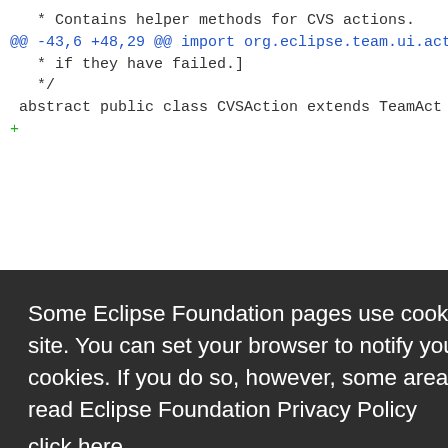[Figure (screenshot): Code diff view showing Java source file with lines including '* Contains helper methods for CVS actions.', '@@ -43,6 +48,29 @@ import org.eclipse.team.ui.act', '* if they have failed.]', '*/', 'abstract public class CVSAction extends TeamAct', '+', and green diff additions on the right side including 'cyEditors', 'CVSUIPlug', 'etInt(ICY', '= true;', 'ation = t', 'ants.OPT', 'ithUser =', 'ants.OPT', 'ch workbe', 'chWindow', 'chPage ad', 'WithOpera', 'ants.OPT', 'ithOpera'. Bottom strip shows '+' and 'break;']
Some Eclipse Foundation pages use cookies to better serve you when you return to the site. You can set your browser to notify you before you receive a cookie or turn off cookies. If you do so, however, some areas of some sites may not function properly. To read Eclipse Foundation Privacy Policy click here.